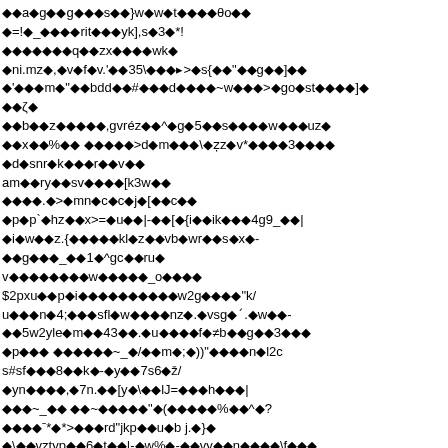Corrupted/encoded text content — appears to be garbled or encoded binary/mojibake text rendered as diamond replacement characters throughout the page.